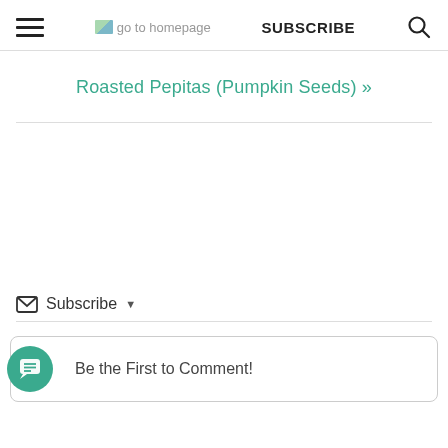☰  go to homepage  SUBSCRIBE  🔍
Roasted Pepitas (Pumpkin Seeds) »
✉ Subscribe ▾
Be the First to Comment!